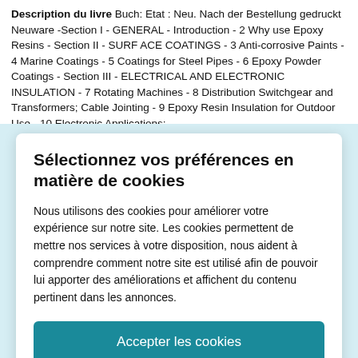Description du livre Buch: Etat : Neu. Nach der Bestellung gedruckt Neuware -Section I - GENERAL - Introduction - 2 Why use Epoxy Resins - Section II - SURFACE COATINGS - 3 Anti-corrosive Paints - 4 Marine Coatings - 5 Coatings for Steel Pipes - 6 Epoxy Powder Coatings - Section III - ELECTRICAL AND ELECTRONIC INSULATION - 7 Rotating Machines - 8 Distribution Switchgear and Transformers; Cable Jointing - 9 Epoxy Resin Insulation for Outdoor Use - 10 Electronic Applications;
Sélectionnez vos préférences en matière de cookies
Nous utilisons des cookies pour améliorer votre expérience sur notre site. Les cookies permettent de mettre nos services à votre disposition, nous aident à comprendre comment notre site est utilisé afin de pouvoir lui apporter des améliorations et affichent du contenu pertinent dans les annonces.
Accepter les cookies
Personnaliser les cookies